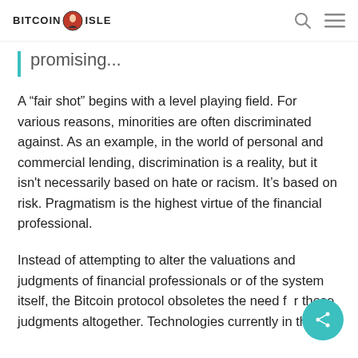BITCOIN ISLE
promising...
A “fair shot” begins with a level playing field. For various reasons, minorities are often discriminated against. As an example, in the world of personal and commercial lending, discrimination is a reality, but it isn't necessarily based on hate or racism. It’s based on risk. Pragmatism is the highest virtue of the financial professional.
Instead of attempting to alter the valuations and judgments of financial professionals or of the system itself, the Bitcoin protocol obsoletes the need for those judgments altogether. Technologies currently in the